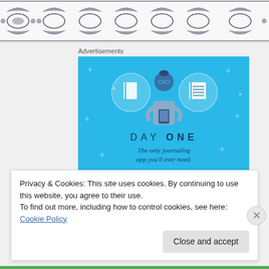[Figure (illustration): Decorative ornamental pattern, dark on white background, top of page]
Advertisements
[Figure (illustration): DAY ONE app advertisement on blue background. Shows person holding phone with notebook icons. Text: DAY ONE - The only journaling app you'll ever need.]
Privacy & Cookies: This site uses cookies. By continuing to use this website, you agree to their use.
To find out more, including how to control cookies, see here: Cookie Policy
Close and accept